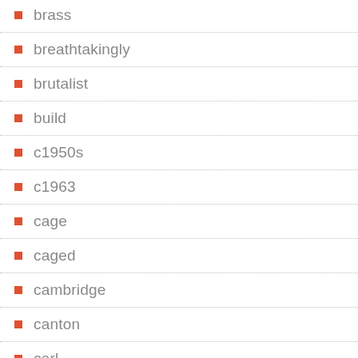brass
breathtakingly
brutalist
build
c1950s
c1963
cage
caged
cambridge
canton
carl